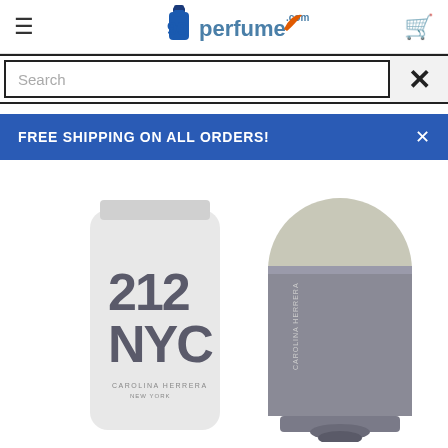99perfume.com
Search
FREE SHIPPING ON ALL ORDERS!
[Figure (photo): 212 NYC Carolina Herrera perfume product photo showing a lotion tube and a round grey bottle]